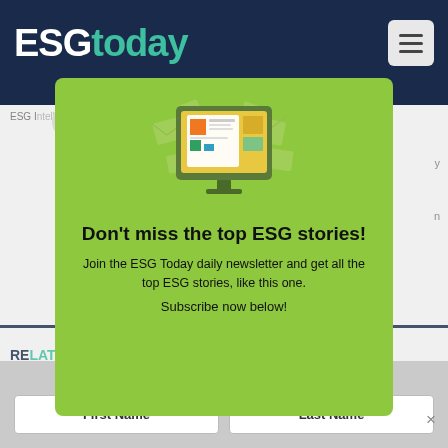[Figure (screenshot): ESG Today website header with dark navy background, white ESG text and teal 'today' text logo, and a hamburger menu icon on the right]
[Figure (infographic): Green modal popup on the ESG Today website showing a newsletter subscription prompt. Contains an illustration of a computer monitor displaying a newspaper/document, bold text reading 'Don't miss the top ESG stories!', subtitle text about joining the ESG Today daily newsletter, and form fields for First Name and Last Name.]
Don't miss the top ESG stories!
Join the ESG Today daily newsletter and get all the top ESG stories, like this one.
Subscribe now below!
First Name
Last Name